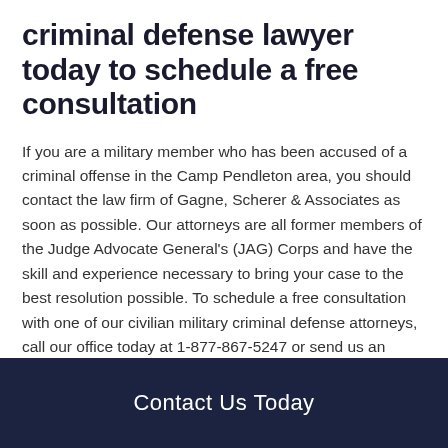criminal defense lawyer today to schedule a free consultation
If you are a military member who has been accused of a criminal offense in the Camp Pendleton area, you should contact the law firm of Gagne, Scherer & Associates as soon as possible. Our attorneys are all former members of the Judge Advocate General's (JAG) Corps and have the skill and experience necessary to bring your case to the best resolution possible. To schedule a free consultation with one of our civilian military criminal defense attorneys, call our office today at 1-877-867-5247 or send us an email through our online contact form.
Contact Us Today